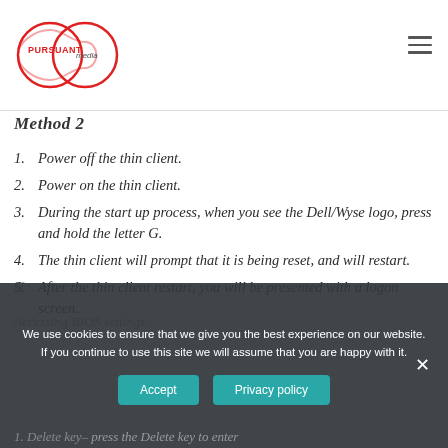Pursuant Media — navigation header with logo and menu
Method 2
1. Power off the thin client.
2. Power on the thin client.
3. During the start up process, when you see the Dell/Wyse logo, press and hold the letter G.
4. The thin client will prompt that it is being reset, and will restart.
5. After the thin client restart, you will be presented with a logon screen.
We use cookies to ensure that we give you the best experience on our website. If you continue to use this site we will assume that you are happy with it.
Accessing BIOS settings
1. Delete key– press the Delete key to enter